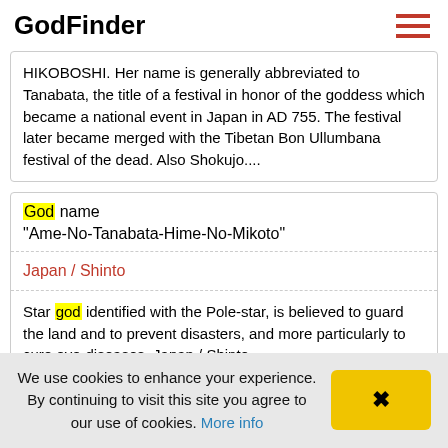GodFinder
HIKOBOSHI. Her name is generally abbreviated to Tanabata, the title of a festival in honor of the goddess which became a national event in Japan in AD 755. The festival later became merged with the Tibetan Bon Ullumbana festival of the dead. Also Shokujo....
God name
"Ame-No-Tanabata-Hime-No-Mikoto"
Japan / Shinto
Star god identified with the Pole-star, is believed to guard the land and to prevent disasters, and more particularly to cure eye-diseases. Japan / Shinto
We use cookies to enhance your experience. By continuing to visit this site you agree to our use of cookies. More info